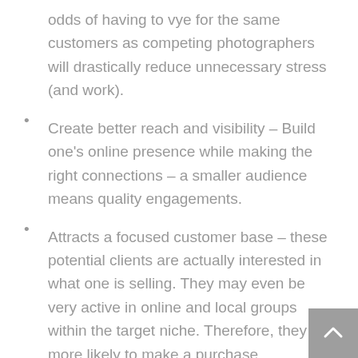odds of having to vye for the same customers as competing photographers will drastically reduce unnecessary stress (and work).
Create better reach and visibility – Build one's online presence while making the right connections – a smaller audience means quality engagements.
Attracts a focused customer base – these potential clients are actually interested in what one is selling. They may even be very active in online and local groups within the target niche. Therefore, they are more likely to make a purchase.